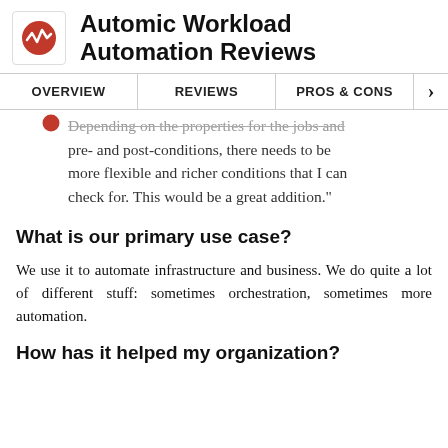Automic Workload Automation Reviews
OVERVIEW   REVIEWS   PROS & CONS
Depending on the properties for the jobs and pre- and post-conditions, there needs to be more flexible and richer conditions that I can check for. This would be a great addition."
What is our primary use case?
We use it to automate infrastructure and business. We do quite a lot of different stuff: sometimes orchestration, sometimes more automation.
How has it helped my organization?